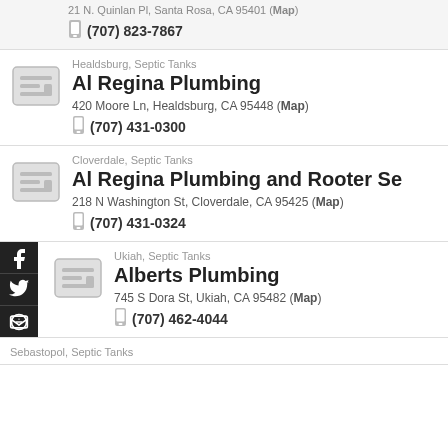21 N. Quinlan Pl, Santa Rosa, CA 95401 (Map)
(707) 823-7867
Healdsburg, Septic Tanks
Al Regina Plumbing
420 Moore Ln, Healdsburg, CA 95448 (Map)
(707) 431-0300
Cloverdale, Septic Tanks
Al Regina Plumbing and Rooter Se
218 N Washington St, Cloverdale, CA 95425 (Map)
(707) 431-0324
Ukiah, Septic Tanks
Alberts Plumbing
745 S Dora St, Ukiah, CA 95482 (Map)
(707) 462-4044
Sebastopol, Septic Tanks